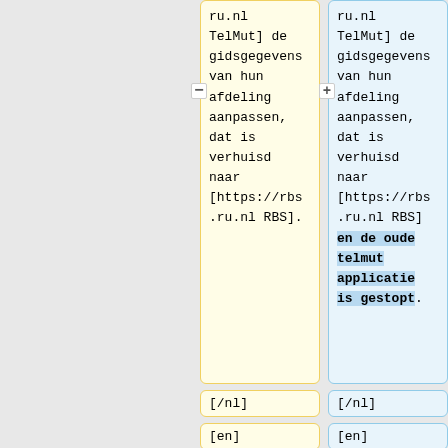ru.nl
TelMut] de
gidsgegevens
van hun
afdeling
aanpassen,
dat is
verhuisd
naar
[https://rbs
.ru.nl RBS].
ru.nl
TelMut] de
gidsgegevens
van hun
afdeling
aanpassen,
dat is
verhuisd
naar
[https://rbs
.ru.nl RBS]
en de oude
telmut
applicatie
is gestopt.
[/nl]
[/nl]
[en]
[en]
FNWI phone
contact
persons
FNWI phone
contact
persons